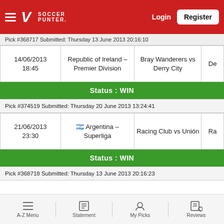Soccer Punter — Login / Register
Pick #368717 Submitted: Thursday 13 June 2013 20:16:10
| Date/Time | League | Match | De... |
| --- | --- | --- | --- |
| 14/06/2013 18:45 | Republic of Ireland – Premier Division | Bray Wanderers vs Derry City | De |
Status : WIN
Pick #374519 Submitted: Thursday 20 June 2013 13:24:41
| Date/Time | League | Match | Ra... |
| --- | --- | --- | --- |
| 21/06/2013 23:30 | Argentina – Superliga | Racing Club vs Unión | Ra |
Status : WIN
Pick #368718 Submitted: Thursday 13 June 2013 20:16:23
A-Z Menu  Statement  My Picks  Reviews